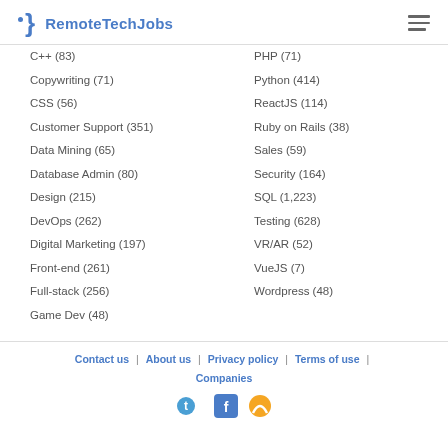RemoteTechJobs
C++ (83)
Copywriting (71)
CSS (56)
Customer Support (351)
Data Mining (65)
Database Admin (80)
Design (215)
DevOps (262)
Digital Marketing (197)
Front-end (261)
Full-stack (256)
Game Dev (48)
PHP (71)
Python (414)
ReactJS (114)
Ruby on Rails (38)
Sales (59)
Security (164)
SQL (1,223)
Testing (628)
VR/AR (52)
VueJS (7)
Wordpress (48)
Contact us | About us | Privacy policy | Terms of use | Companies